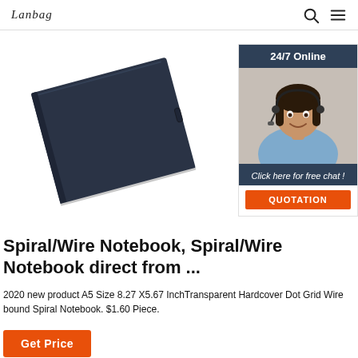Lanbag | Search | Menu
[Figure (photo): Dark navy blue hardcover spiral/wire notebook photographed at an angle against a white background]
[Figure (infographic): 24/7 Online chat widget with a smiling customer service representative wearing a headset, a 'Click here for free chat!' message, and an orange QUOTATION button]
Spiral/Wire Notebook, Spiral/Wire Notebook direct from ...
2020 new product A5 Size 8.27 X5.67 InchTransparent Hardcover Dot Grid Wire bound Spiral Notebook. $1.60 Piece.
Get Price